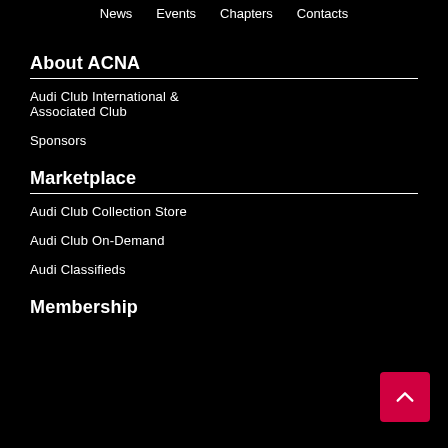News  Events  Chapters  Contacts
About ACNA
Audi Club International & Associated Club
Sponsors
Marketplace
Audi Club Collection Store
Audi Club On-Demand
Audi Classifieds
Membership